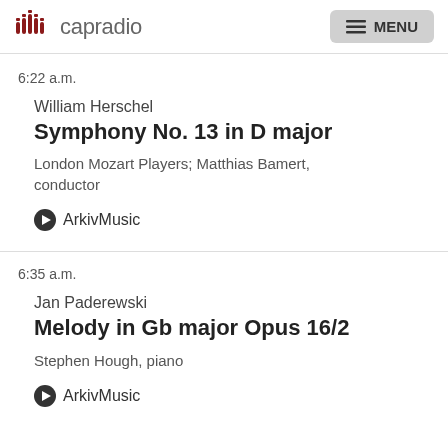capradio  MENU
6:22 a.m.
William Herschel
Symphony No. 13 in D major
London Mozart Players; Matthias Bamert, conductor
ArkivMusic
6:35 a.m.
Jan Paderewski
Melody in Gb major Opus 16/2
Stephen Hough, piano
ArkivMusic